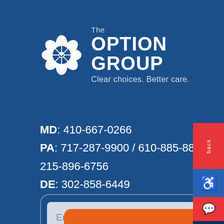[Figure (logo): The Option Group logo: white flower/daisy icon with circular center, next to text 'The OPTION GROUP – Clear choices. Better care.']
MD: 410-667-0266
PA: 717-287-9900 / 610-885-8899 / 215-896-6756
DE: 302-858-6449
[Figure (screenshot): Email input field with placeholder text 'Email' on a grey background inside a rounded border box, and a partial orange button at the bottom.]